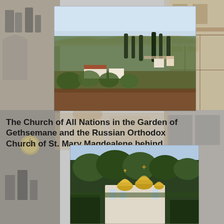[Figure (photo): Background collage of travel/street scenes on left and right sides, faded/watermarked]
[Figure (photo): Top photo: Aerial landscape view of the Garden of Gethsemane area with olive trees, cypress trees, buildings and hills in Jerusalem]
The Church of All Nations in the Garden of Gethsemane and the Russian Orthodox Church of St. Mary Magdealene behind.
[Figure (photo): Bottom photo: Close-up view of the Russian Orthodox Church of St. Mary Magdalene with golden onion domes, surrounded by trees]